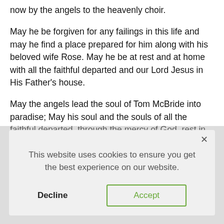now by the angels to the heavenly choir.
May he be forgiven for any failings in this life and may he find a place prepared for him along with his beloved wife Rose. May he be at rest and at home with all the faithful departed and our Lord Jesus in His Father's house.
May the angels lead the soul of Tom McBride into paradise; May his soul and the souls of all the faithful departed, through the mercy of God, rest in peace. Amen.
This website uses cookies to ensure you get the best experience on our website.
Decline
Accept